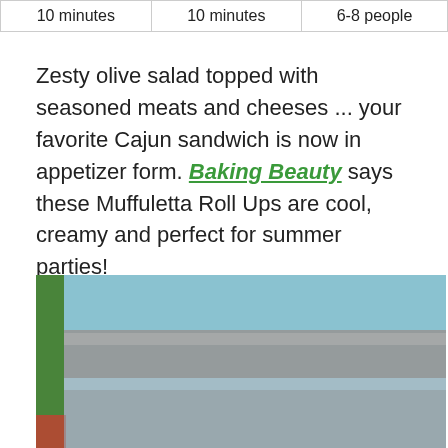| 10 minutes | 10 minutes | 6-8 people |
| --- | --- | --- |
Zesty olive salad topped with seasoned meats and cheeses ... your favorite Cajun sandwich is now in appetizer form. Baking Beauty says these Muffuletta Roll Ups are cool, creamy and perfect for summer parties!
[Figure (photo): Blurred close-up photo of Muffuletta Roll Ups on a serving surface with green, teal, and grey color tones]